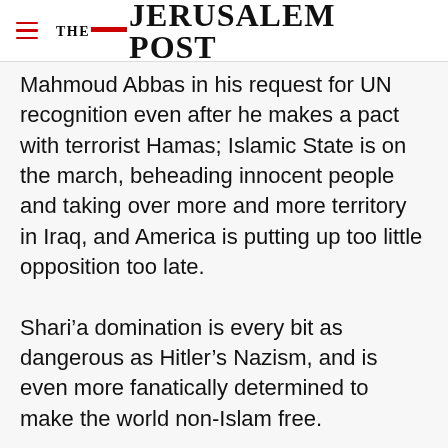THE JERUSALEM POST
Mahmoud Abbas in his request for UN recognition even after he makes a pact with terrorist Hamas; Islamic State is on the march, beheading innocent people and taking over more and more territory in Iraq, and America is putting up too little opposition too late.
Shari’a domination is every bit as dangerous as Hitler’s Nazism, and is even more fanatically determined to make the world non-Islam free.
Advertisement